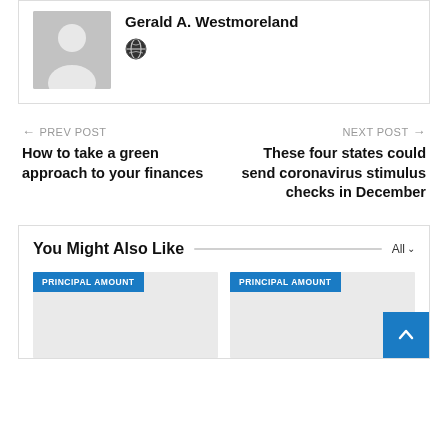Gerald A. Westmoreland
[Figure (illustration): Default user avatar silhouette on grey background]
[Figure (illustration): Globe/world icon]
← PREV POST
How to take a green approach to your finances
NEXT POST →
These four states could send coronavirus stimulus checks in December
You Might Also Like
[Figure (other): Card thumbnail with PRINCIPAL AMOUNT blue badge label]
[Figure (other): Card thumbnail with PRINCIPAL AMOUNT blue badge label]